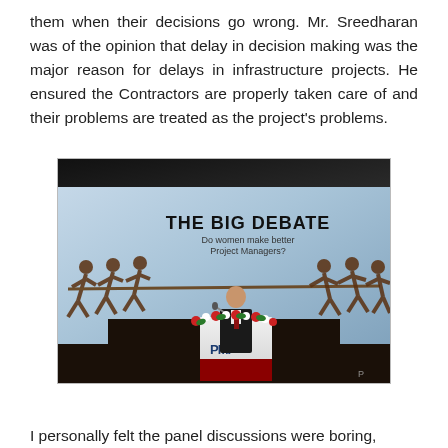them when their decisions go wrong. Mr. Sreedharan was of the opinion that delay in decision making was the major reason for delays in infrastructure projects. He ensured the Contractors are properly taken care of and their problems are treated as the project's problems.
[Figure (photo): A man in a suit speaking at a PMI podium decorated with flowers, in front of a large projection screen showing 'THE BIG DEBATE — Do women make better Project Managers?' with tug-of-war silhouette graphics.]
I personally felt the panel discussions were boring,